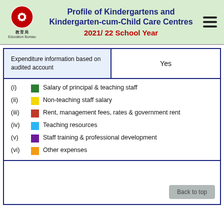Profile of Kindergartens and Kindergarten-cum-Child Care Centres 2021/22 School Year
| Expenditure information based on audited account |  |
| --- | --- |
| Expenditure information based on audited account | Yes |
(i) Salary of principal & teaching staff
(ii) Non-teaching staff salary
(iii) Rent, management fees, rates & government rent
(iv) Teaching resources
(v) Staff training & professional development
(vi) Other expenses